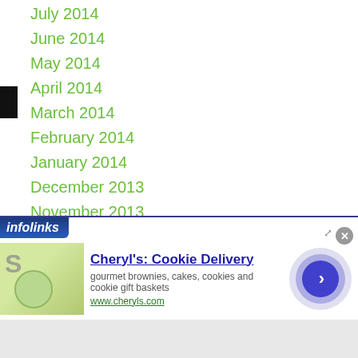July 2014
June 2014
May 2014
April 2014
March 2014
February 2014
January 2014
December 2013
November 2013
October 2013
September 2013
August 2013
July 2013
June 2013
May 2013
April 2013
[Figure (screenshot): Infolinks advertisement banner for Cheryl's Cookie Delivery showing an image of food/cookies, ad title, description, and navigation arrow]